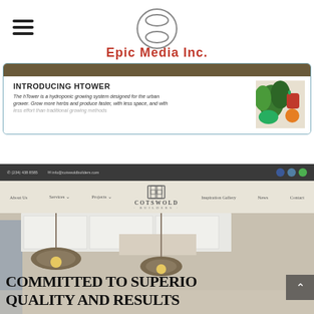[Figure (screenshot): Epic Media Inc. website header with hamburger menu icon on left, circular logo and red text 'Epic Media Inc.' in center]
[Figure (screenshot): HTower product screenshot: 'INTRODUCING HTOWER' with text 'The hTower is a hydroponic growing system designed for the urban grower. Grow more herbs and produce faster, with less space, and with...' and vegetable photo on right]
[Figure (screenshot): Cotswold Builders website screenshot with dark top contact bar showing phone (234) 438 8585 and email info@cotswoldbuilders.com, navigation menu with About Us, Services, Projects, Inspiration Gallery, News, Contact, Cotswold Builders logo, and hero image with text 'COMMITTED TO SUPERIOR QUALITY AND RESULTS']